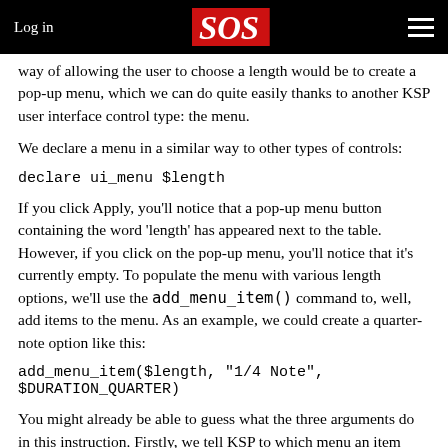Log in | SOS | ☰
way of allowing the user to choose a length would be to create a pop-up menu, which we can do quite easily thanks to another KSP user interface control type: the menu.
We declare a menu in a similar way to other types of controls:
If you click Apply, you'll notice that a pop-up menu button containing the word 'length' has appeared next to the table. However, if you click on the pop-up menu, you'll notice that it's currently empty. To populate the menu with various length options, we'll use the add_menu_item() command to, well, add items to the menu. As an example, we could create a quarter-note option like this:
You might already be able to guess what the three arguments do in this instruction. Firstly, we tell KSP to which menu an item should be added: in this case, our $length menu. Next, we specify